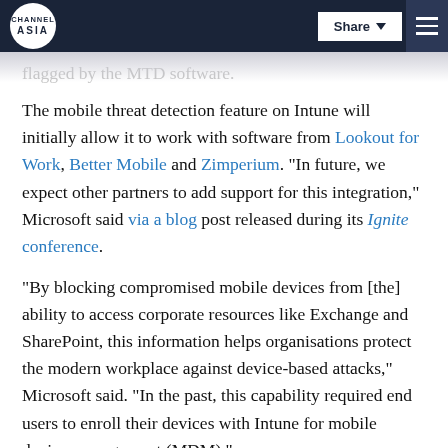CHANNEL ASIA | Share | [menu]
flagged by the MTD software.
The mobile threat detection feature on Intune will initially allow it to work with software from Lookout for Work, Better Mobile and Zimperium. "In future, we expect other partners to add support for this integration," Microsoft said via a blog post released during its Ignite conference.
"By blocking compromised mobile devices from [the] ability to access corporate resources like Exchange and SharePoint, this information helps organisations protect the modern workplace against device-based attacks," Microsoft said. "In the past, this capability required end users to enroll their devices with Intune for mobile device management (MDM)."